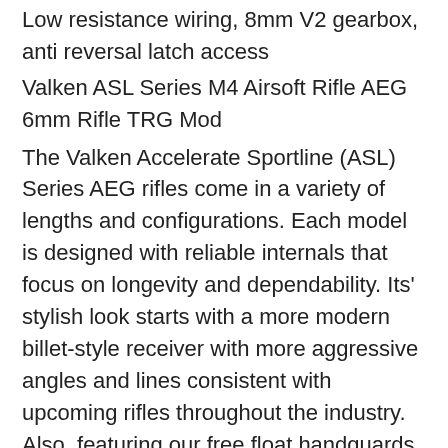Low resistance wiring, 8mm V2 gearbox, anti reversal latch access
Valken ASL Series M4 Airsoft Rifle AEG 6mm Rifle TRG Mod
The Valken Accelerate Sportline (ASL) Series AEG rifles come in a variety of lengths and configurations. Each model is designed with reliable internals that focus on longevity and dependability. Its' stylish look starts with a more modern billet-style receiver with more aggressive angles and lines consistent with upcoming rifles throughout the industry. Also, featuring our free float handguards, 6-position vented crane stock, and flip-up hi-vis front and rear sights round out the overall external look of our ASL series of rifles. The Valken ASL AEG rifles also come with a full compliment of durable internal parts.